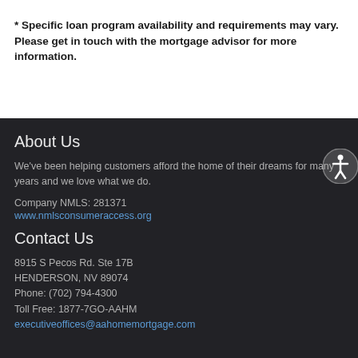* Specific loan program availability and requirements may vary. Please get in touch with the mortgage advisor for more information.
About Us
We've been helping customers afford the home of their dreams for many years and we love what we do.
Company NMLS: 281371
www.nmlsconsumeraccess.org
Contact Us
8915 S Pecos Rd. Ste 17B
HENDERSON, NV 89074
Phone: (702) 794-4300
Toll Free: 1877-7GO-AAHM
executiveoffices@aahomemortgage.com